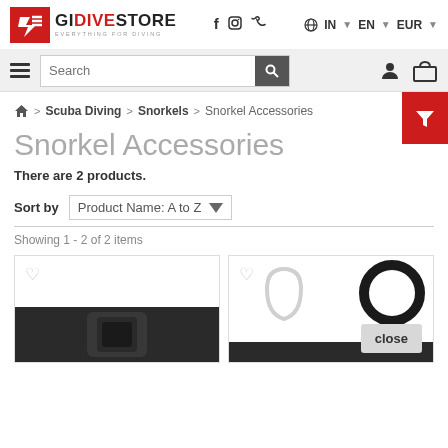[Figure (logo): GIDiveStore logo with red box and text]
f  IN  EN  EUR
[Figure (screenshot): Search bar with hamburger menu, search input, user and cart icons]
[Figure (infographic): Red filter button on right side]
Scuba Diving > Snorkels > Snorkel Accessories
Snorkel Accessories
There are 2 products.
Sort by  Product Name: A to Z
Showing 1 - 2 of 2 items
[Figure (photo): Two product cards showing snorkel accessories with heart/wishlist icons]
close